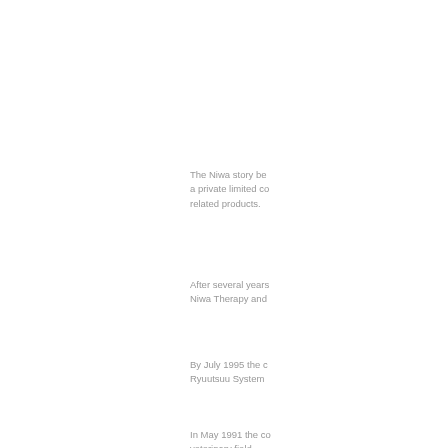The Niwa story be... a private limited co... related products.
After several years... Niwa Therapy and...
By July 1995 the c... Ryuutsuu System ...
In May 1991 the co... veterinary field.